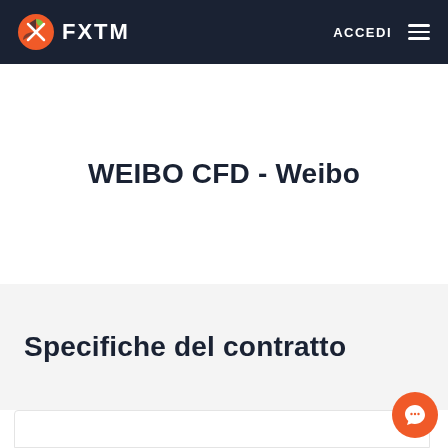FXTM  ACCEDI
WEIBO CFD - Weibo
Specifiche del contratto